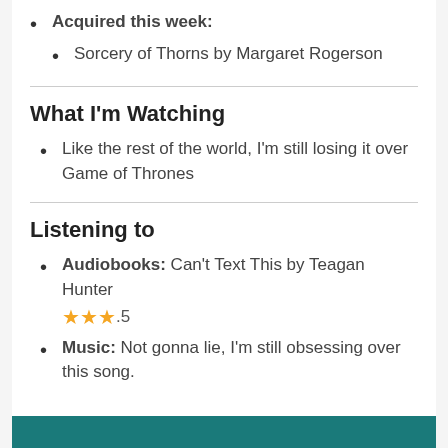Acquired this week:
Sorcery of Thorns by Margaret Rogerson
What I'm Watching
Like the rest of the world, I'm still losing it over Game of Thrones
Listening to
Audiobooks: Can't Text This by Teagan Hunter ★★★.5
Music: Not gonna lie, I'm still obsessing over this song.